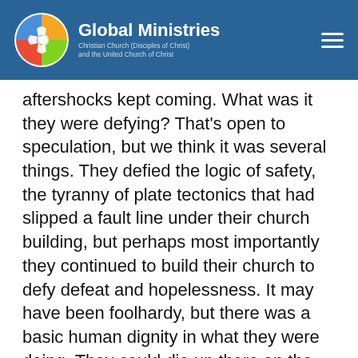Global Ministries — Christian Church (Disciples of Christ) and the United Church of Christ
aftershocks kept coming. What was it they were defying? That's open to speculation, but we think it was several things. They defied the logic of safety, the tyranny of plate tectonics that had slipped a fault line under their church building, but perhaps most importantly they continued to build their church to defy defeat and hopelessness. It may have been foolhardy, but there was a basic human dignity in what they were doing. They could die up there on the scaffolding if another big tremor hits, but if so they are prepared. Having anointed their church with reckless faith they are prepared